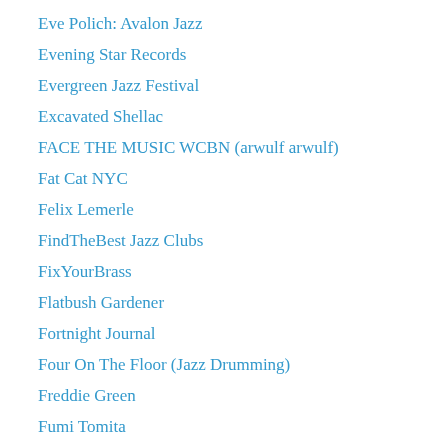Eve Polich: Avalon Jazz
Evening Star Records
Evergreen Jazz Festival
Excavated Shellac
FACE THE MUSIC WCBN (arwulf arwulf)
Fat Cat NYC
Felix Lemerle
FindTheBest Jazz Clubs
FixYourBrass
Flatbush Gardener
Fortnight Journal
Four On The Floor (Jazz Drumming)
Freddie Green
Fumi Tomita
Gabrielle Stravelli
Gaucho Gypsy Jazz
George Foley
Glacier Jazz Stampede
Glenn Crytzer and his Syncopators
Going Thru Vinyl